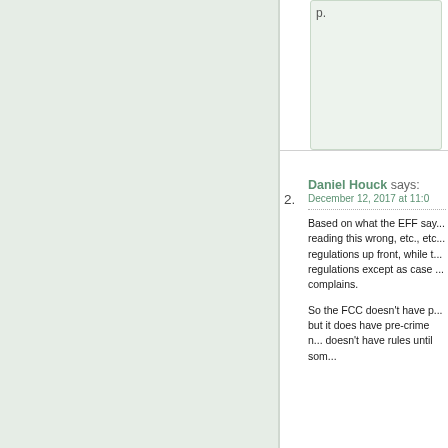p.
Daniel Houck says: December 12, 2017 at 11:0...
Based on what the EFF say... reading this wrong, etc., etc... regulations up front, while t... regulations except as case ... complains.
So the FCC doesn't have p... but it does have pre-crime n... doesn't have rules until som...
Senjiu says: December 13, 201... pm
But how can you k...